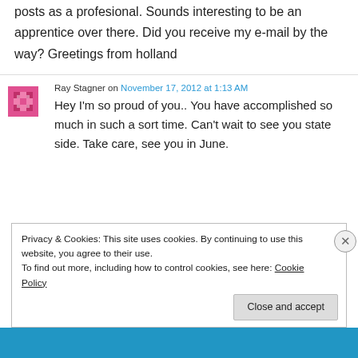posts as a profesional. Sounds interesting to be an apprentice over there. Did you receive my e-mail by the way? Greetings from holland
Ray Stagner on November 17, 2012 at 1:13 AM
Hey I'm so proud of you.. You have accomplished so much in such a sort time. Can't wait to see you state side. Take care, see you in June.
Privacy & Cookies: This site uses cookies. By continuing to use this website, you agree to their use.
To find out more, including how to control cookies, see here: Cookie Policy
Close and accept